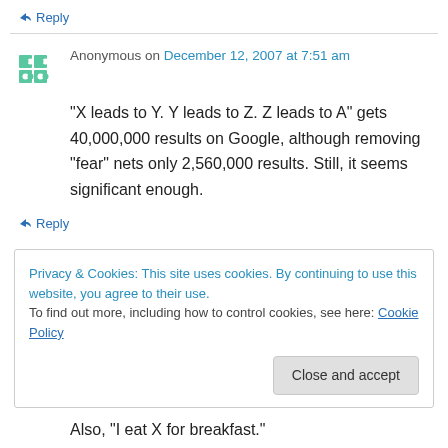↳ Reply
Anonymous on December 12, 2007 at 7:51 am
“X leads to Y. Y leads to Z. Z leads to A” gets 40,000,000 results on Google, although removing “fear” nets only 2,560,000 results. Still, it seems significant enough.
↳ Reply
Privacy & Cookies: This site uses cookies. By continuing to use this website, you agree to their use.
To find out more, including how to control cookies, see here: Cookie Policy
Close and accept
Also, “I eat X for breakfast.”